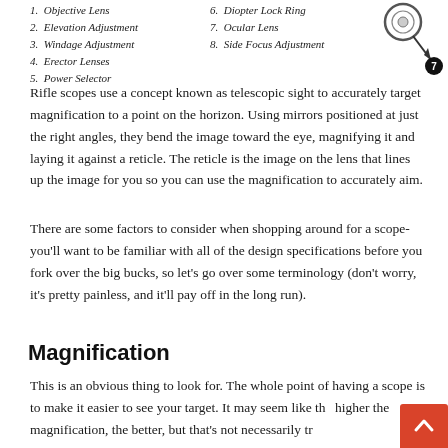1. Objective Lens
2. Elevation Adjustment
3. Windage Adjustment
4. Erector Lenses
5. Power Selector
6. Diopter Lock Ring
7. Ocular Lens
8. Side Focus Adjustment
[Figure (illustration): Partial diagram of a rifle scope showing numbered component 7 (Ocular Lens) with a circular element and arrow label]
Rifle scopes use a concept known as telescopic sight to accurately target magnification to a point on the horizon. Using mirrors positioned at just the right angles, they bend the image toward the eye, magnifying it and laying it against a reticle. The reticle is the image on the lens that lines up the image for you so you can use the magnification to accurately aim.
There are some factors to consider when shopping around for a scope-you'll want to be familiar with all of the design specifications before you fork over the big bucks, so let's go over some terminology (don't worry, it's pretty painless, and it'll pay off in the long run).
Magnification
This is an obvious thing to look for. The whole point of having a scope is to make it easier to see your target. It may seem like the higher the magnification, the better, but that's not necessarily tr